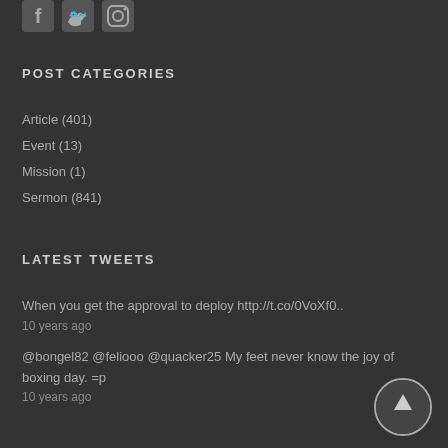[Figure (illustration): Social media icons: Facebook, Twitter, Instagram in light gray on dark background]
POST CATEGORIES
Article (401)
Event (13)
Mission (1)
Sermon (841)
LATEST TWEETS
When you get the approval to deploy http://t.co/0VoXf0..
10 years ago
@bongel82 @feliooo @quacker25 My feet never know the joy of boxing day. =p
10 years ago